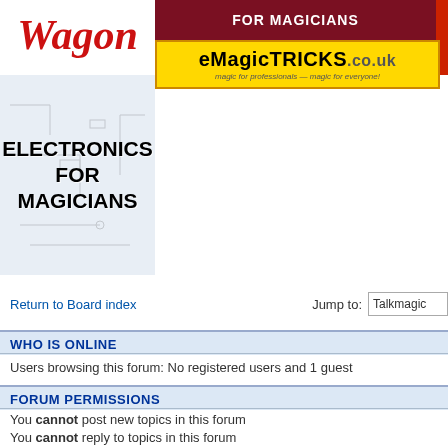[Figure (screenshot): Website header banner showing 'Wagon' in red cursive, 'FOR MAGICIANS' in dark red banner, eMagicTricks.co.uk logo in yellow, Electronics for Magicians book cover, and partial red image on right]
Return to Board index
Jump to:  Talkmagic
WHO IS ONLINE
Users browsing this forum: No registered users and 1 guest
FORUM PERMISSIONS
You cannot post new topics in this forum
You cannot reply to topics in this forum
You cannot edit your posts in this forum
You cannot delete your posts in this forum
You cannot post attachments in this forum
Board index
The team • Delete a
Powered by phpBB® Forum Software © phpBB Gr
Talkmagic is sponsored by the advertisers - please thank them